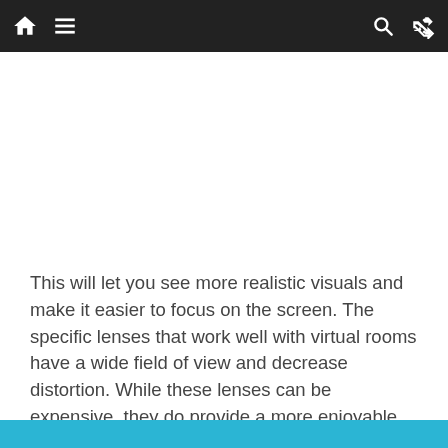Navigation bar with home, menu, search, and shuffle icons
This will let you see more realistic visuals and make it easier to focus on the screen. The specific lenses that work well with virtual rooms have a wide field of view and decrease distortion. While these lenses can be expensive, they do provide a more enjoyable